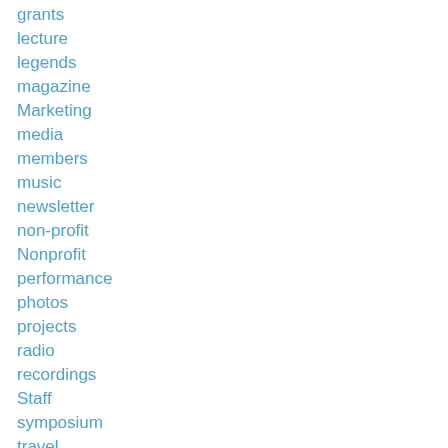grants
lecture
legends
magazine
Marketing
media
members
music
newsletter
non-profit
Nonprofit
performance
photos
projects
radio
recordings
Staff
symposium
travel
TV